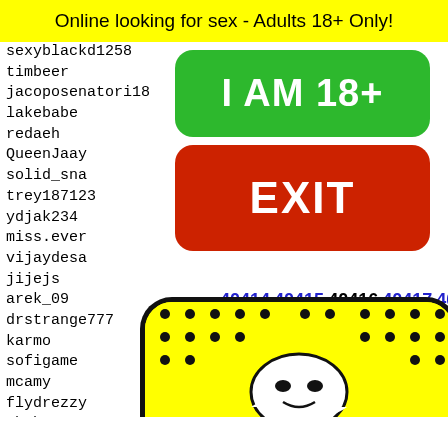Online looking for sex - Adults 18+ Only!
sexyblackd1258
timbeer
jacoposenatori18
lakebabe
redaeh
QueenJaay
solid_sna
trey187123
ydjak234
miss.ever
vijaydesa
jijejs
arek_09
drstrange777
karmo
sofigame
mcamy
flydrezzy
ybyb666
alanwilliams
jbeall
TRYPLE
msbunn
carlos
nakedb
lora35
I AM 18+
EXIT
40414 40415 40416 40417 40418
[Figure (illustration): Snapchat ghost logo on yellow background with rounded rectangle border and dot pattern]